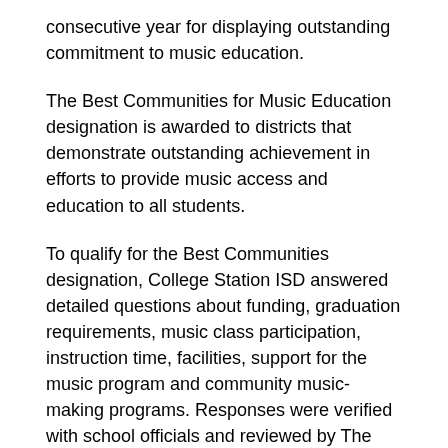consecutive year for displaying outstanding commitment to music education.
The Best Communities for Music Education designation is awarded to districts that demonstrate outstanding achievement in efforts to provide music access and education to all students.
To qualify for the Best Communities designation, College Station ISD answered detailed questions about funding, graduation requirements, music class participation, instruction time, facilities, support for the music program and community music-making programs. Responses were verified with school officials and reviewed by The Music Research Institute at the University of Kansas.
The NAMM Foundation is a nonprofit organization supported in part by the National Association of Music Merchants and its approximately 10,300 members around the world. The foundation advances active participation in